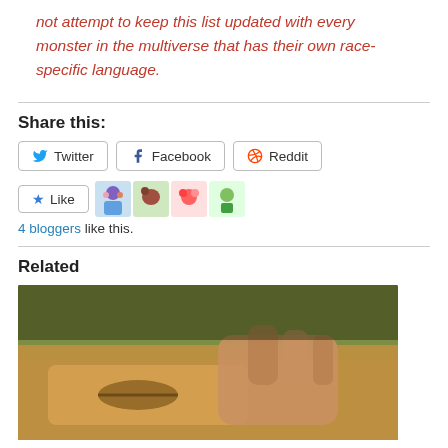not attempt to keep this list updated with every monster in the multiverse that has their own race-specific language.
Share this:
Twitter | Facebook | Reddit
Like | [avatar icons] | 4 bloggers like this.
Related
[Figure (photo): A photo showing hands holding what appears to be a wrapped or tied object, possibly a tool or instrument, with a blurred outdoor background.]